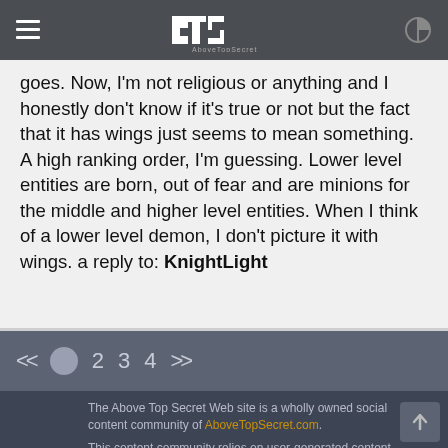4TS AboveTopSecret
goes. Now, I'm not religious or anything and I honestly don't know if it's true or not but the fact that it has wings just seems to mean something. A high ranking order, I'm guessing. Lower level entities are born, out of fear and are minions for the middle and higher level entities. When I think of a lower level demon, I don't picture it with wings. a reply to: KnightLight
<< 1 2 3 4 >>
The Above Top Secret Web site is a wholly owned social content community of AboveTopSecret.com. This content community relies on user-generated content from our member contributors. The opinions of our members are not those of site ownership who maintains strict editorial agnosticism and simply provides a collaborative venue for free expression.